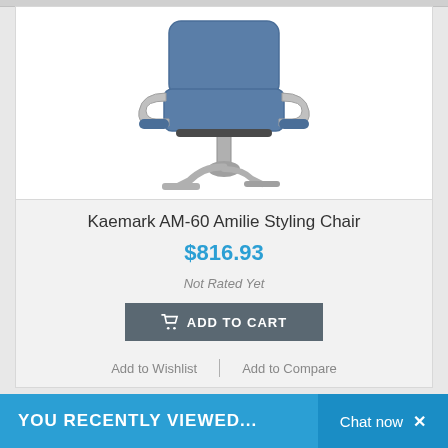[Figure (photo): Kaemark AM-60 Amilie Styling Chair — a blue upholstered salon styling chair with chrome Z-shaped base and armrests]
Kaemark AM-60 Amilie Styling Chair
$816.93
Not Rated Yet
ADD TO CART
Add to Wishlist
Add to Compare
YOU RECENTLY VIEWED...
Chat now